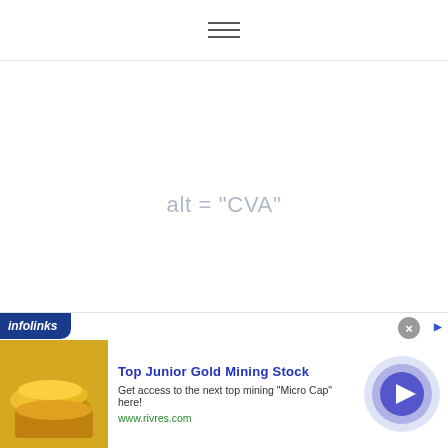navigation menu icon
[Figure (other): Broken image placeholder showing alt text: alt="CVA"]
[Figure (other): Infolinks advertisement banner: Top Junior Gold Mining Stock. Get access to the next top mining "Micro Cap" here! www.rivres.com]